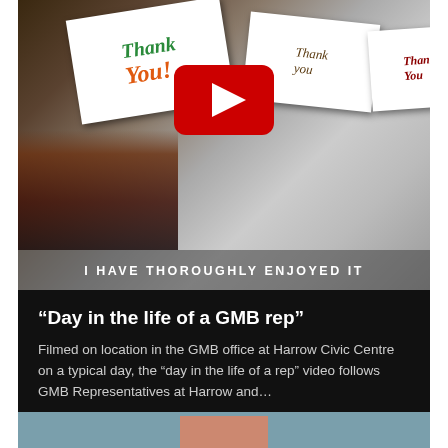[Figure (photo): Video thumbnail showing a YouTube play button over a collage of 'Thank You' cards and a crowd/stage scene, with text 'I HAVE THOROUGHLY ENJOYED IT']
“Day in the life of a GMB rep”
Filmed on location in the GMB office at Harrow Civic Centre on a typical day, the “day in the life of a rep” video follows GMB Representatives at Harrow and…
Posted 16th March 2018
[Figure (photo): Bottom of next card visible, showing a teal/blue background with a salmon/pink rectangle in the center]